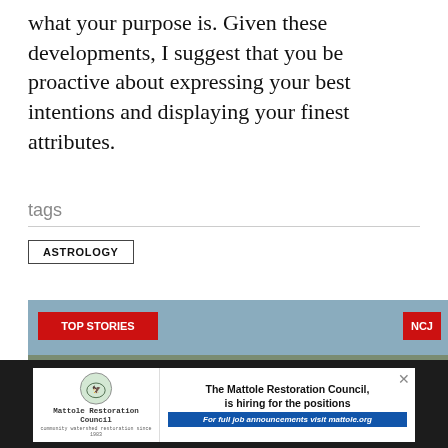what your purpose is. Given these developments, I suggest that you be proactive about expressing your best intentions and displaying your finest attributes.
tags
ASTROLOGY
[Figure (photo): Aerial view of industrial buildings with solar panels on rooftops near a waterway, with TOP STORIES and NCJ overlay badges and navigation arrows]
[Figure (other): Advertisement for Mattole Restoration Council showing logo and text: The Mattole Restoration Council, is hiring for the positions. For full job announcements visit mattole.org]